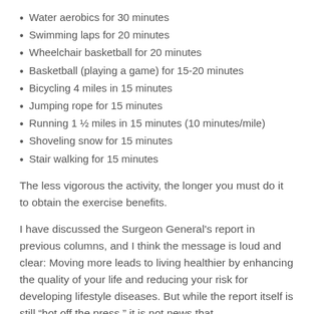Water aerobics for 30 minutes
Swimming laps for 20 minutes
Wheelchair basketball for 20 minutes
Basketball (playing a game) for 15-20 minutes
Bicycling 4 miles in 15 minutes
Jumping rope for 15 minutes
Running 1 ½ miles in 15 minutes (10 minutes/mile)
Shoveling snow for 15 minutes
Stair walking for 15 minutes
The less vigorous the activity, the longer you must do it to obtain the exercise benefits.
I have discussed the Surgeon General's report in previous columns, and I think the message is loud and clear: Moving more leads to living healthier by enhancing the quality of your life and reducing your risk for developing lifestyle diseases. But while the report itself is still “hot off the press,” it is not news that